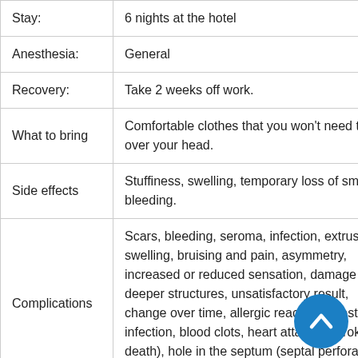| Category | Detail |
| --- | --- |
| Stay: | 6 nights at the hotel |
| Anesthesia: | General |
| Recovery: | Take 2 weeks off work. |
| What to bring | Comfortable clothes that you won't need to pull over your head. |
| Side effects | Stuffiness, swelling, temporary loss of smelling, bleeding. |
| Complications | Scars, bleeding, seroma, infection, extrusion, swelling, bruising and pain, asymmetry, increased or reduced sensation, damage to deeper structures, unsatisfactory result, change over time, allergic reaction (chest infection, blood clots, heart attack or stroke and death), hole in the septum (septal perforation), breathing difficulties, altered... |